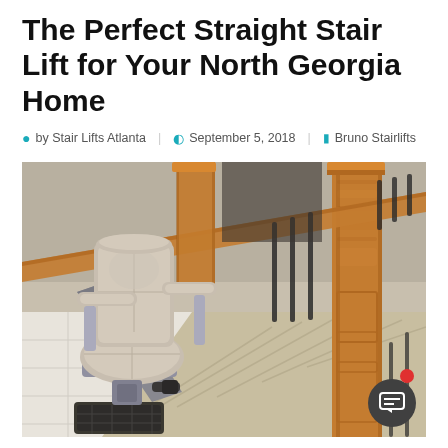The Perfect Straight Stair Lift for Your North Georgia Home
by Stair Lifts Atlanta   September 5, 2018   Bruno Stairlifts
[Figure (photo): A beige/cream colored stair lift chair installed at the bottom of a carpeted staircase with oak wood banister and black iron balusters, viewed from above at an angle. The seat and armrests are padded, and the lift mechanism is visible on the left side. The floor at the bottom is white tile.]